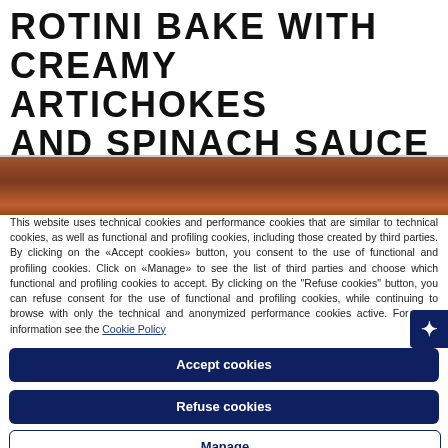ROTINI BAKE WITH CREAMY ARTICHOKES AND SPINACH SAUCE
[Figure (photo): Partial photo of a food dish, showing warm reddish-brown tones, partially visible due to cookie consent overlay]
This website uses technical cookies and performance cookies that are similar to technical cookies, as well as functional and profiling cookies, including those created by third parties. By clicking on the «Accept cookies» button, you consent to the use of functional and profiling cookies. Click on «Manage» to see the list of third parties and choose which functional and profiling cookies to accept. By clicking on the "Refuse cookies" button, you can refuse consent for the use of functional and profiling cookies, while continuing to browse with only the technical and anonymized performance cookies active. For more information see the Cookie Policy
Accept cookies
Refuse cookies
Manage